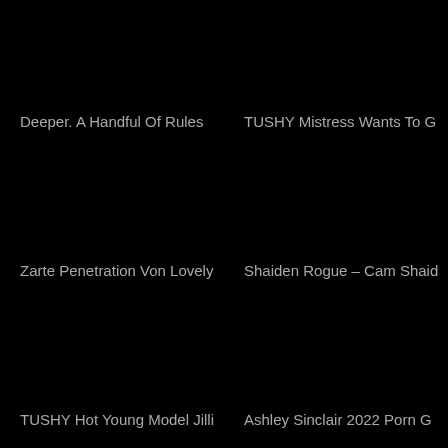Deeper. A Handful Of Rules
TUSHY Mistress Wants To G
Zarte Penetration Von Lovely
Shaiden Rogue – Cam Shaid
TUSHY Hot Young Model Jilli
Ashley Sinclair 2022 Porn G